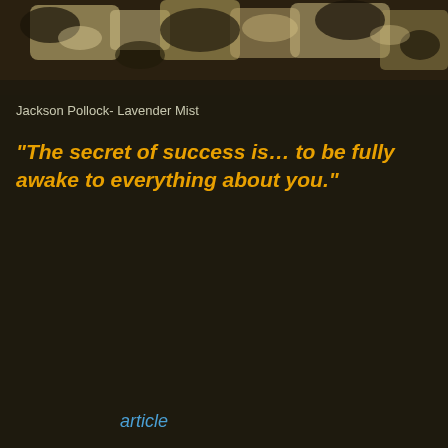[Figure (photo): Abstract painting photograph — Jackson Pollock's Lavender Mist, showing dark and beige drip paint pattern]
Jackson Pollock- Lavender Mist
“The secret of success is… to be fully awake to everything about you.”
article